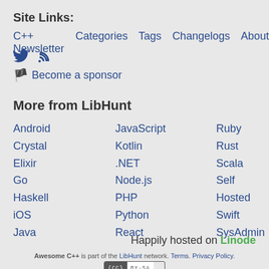Site Links:
C++ Newsletter   Categories   Tags   Changelogs   About
[Figure (other): Twitter and RSS feed icons]
🏴 Become a sponsor
More from LibHunt
Android
Crystal
Elixir
Go
Haskell
iOS
Java
JavaScript
Kotlin
.NET
Node.js
PHP
Python
React
Ruby
Rust
Scala
Self Hosted
Swift
SysAdmin
Happily hosted on Linode
Awesome C++ is part of the LibHunt network. Terms. Privacy Policy.
[Figure (logo): Creative Commons CC BY-SA license badge]